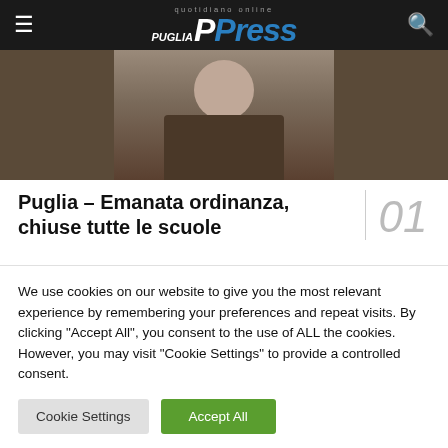PPress quotidiano online
[Figure (photo): Hero image showing a person in a suit, cropped, newspaper article header photo]
Puglia – Emanata ordinanza, chiuse tutte le scuole
51624 SHARES
Martina Franca/Maledetto destino per due fratelli
We use cookies on our website to give you the most relevant experience by remembering your preferences and repeat visits. By clicking "Accept All", you consent to the use of ALL the cookies. However, you may visit "Cookie Settings" to provide a controlled consent.